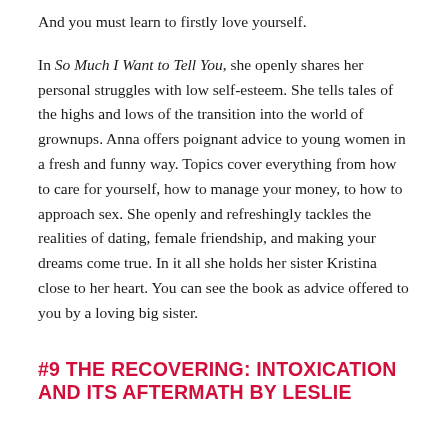And you must learn to firstly love yourself.
In So Much I Want to Tell You, she openly shares her personal struggles with low self-esteem. She tells tales of the highs and lows of the transition into the world of grownups. Anna offers poignant advice to young women in a fresh and funny way. Topics cover everything from how to care for yourself, how to manage your money, to how to approach sex. She openly and refreshingly tackles the realities of dating, female friendship, and making your dreams come true. In it all she holds her sister Kristina close to her heart. You can see the book as advice offered to you by a loving big sister.
#9 THE RECOVERING: INTOXICATION AND ITS AFTERMATH BY LESLIE